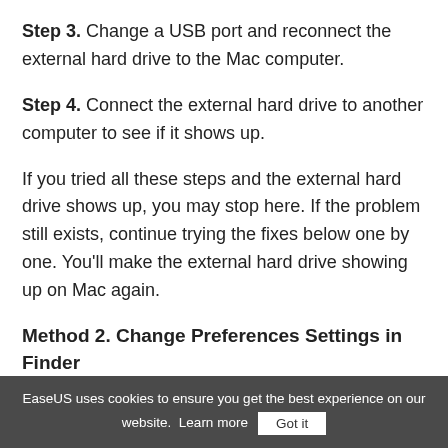Step 3. Change a USB port and reconnect the external hard drive to the Mac computer.
Step 4. Connect the external hard drive to another computer to see if it shows up.
If you tried all these steps and the external hard drive shows up, you may stop here. If the problem still exists, continue trying the fixes below one by one. You'll make the external hard drive showing up on Mac again.
Method 2. Change Preferences Settings in Finder
menu bar.
EaseUS uses cookies to ensure you get the best experience on our website.  Learn more  Got it